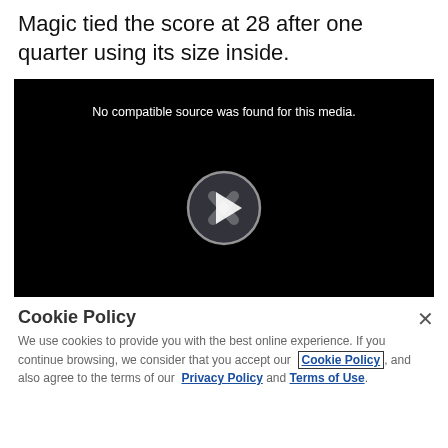Magic tied the score at 28 after one quarter using its size inside.
[Figure (screenshot): Video player showing black screen with white text 'No compatible source was found for this media.' and a circular play button in the center.]
Cookie Policy
We use cookies to provide you with the best online experience. If you continue browsing, we consider that you accept our Cookie Policy, and also agree to the terms of our Privacy Policy and Terms of Use.